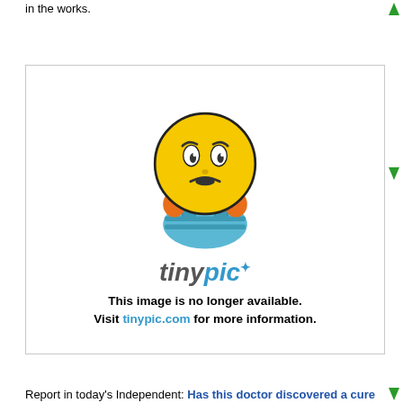in the works.
[Figure (illustration): Tinypic placeholder image showing a sad cartoon emoji character with a frowning face, hands on head, wearing blue overalls. Below the character is the 'tinypic' logo in blue and grey. Text reads: 'This image is no longer available. Visit tinypic.com for more information.']
Report in today's Independent: Has this doctor discovered a cure